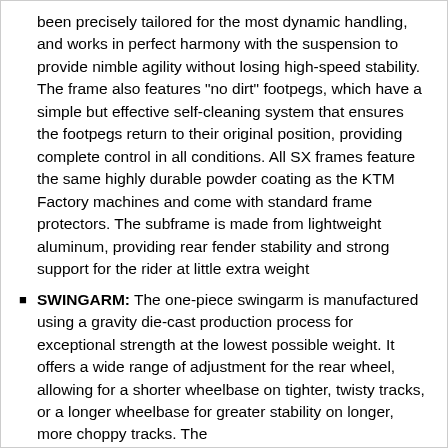been precisely tailored for the most dynamic handling, and works in perfect harmony with the suspension to provide nimble agility without losing high-speed stability. The frame also features "no dirt" footpegs, which have a simple but effective self-cleaning system that ensures the footpegs return to their original position, providing complete control in all conditions. All SX frames feature the same highly durable powder coating as the KTM Factory machines and come with standard frame protectors. The subframe is made from lightweight aluminum, providing rear fender stability and strong support for the rider at little extra weight
SWINGARM: The one-piece swingarm is manufactured using a gravity die-cast production process for exceptional strength at the lowest possible weight. It offers a wide range of adjustment for the rear wheel, allowing for a shorter wheelbase on tighter, twisty tracks, or a longer wheelbase for greater stability on longer, more choppy tracks. The